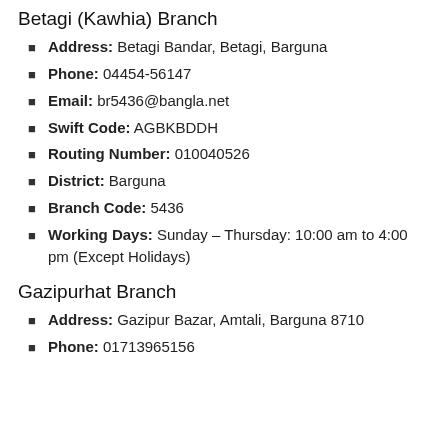Betagi (Kawhia) Branch
Address: Betagi Bandar, Betagi, Barguna
Phone: 04454-56147
Email: br5436@bangla.net
Swift Code: AGBKBDDH
Routing Number: 010040526
District: Barguna
Branch Code: 5436
Working Days: Sunday – Thursday: 10:00 am to 4:00 pm (Except Holidays)
Gazipurhat Branch
Address: Gazipur Bazar, Amtali, Barguna 8710
Phone: 01713965156